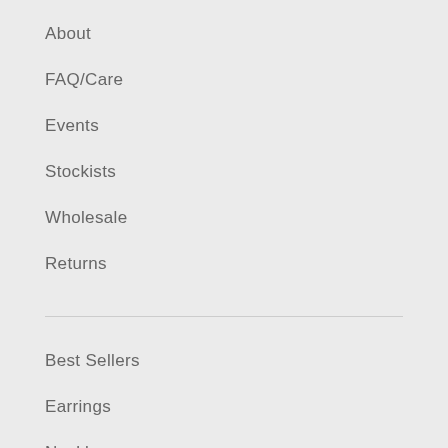About
FAQ/Care
Events
Stockists
Wholesale
Returns
Best Sellers
Earrings
Necklaces
Rings
Bracelets
New